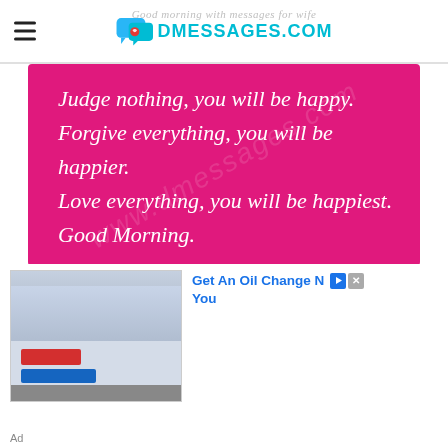DMESSAGES.COM
[Figure (illustration): Pink/magenta background quote card with white italic text reading: Judge nothing, you will be happy. Forgive everything, you will be happier. Love everything, you will be happiest. Good Morning.]
[Figure (photo): Advertisement showing a commercial building (auto service center) with red and blue signage, alongside ad text: Get An Oil Change N... You]
Ad